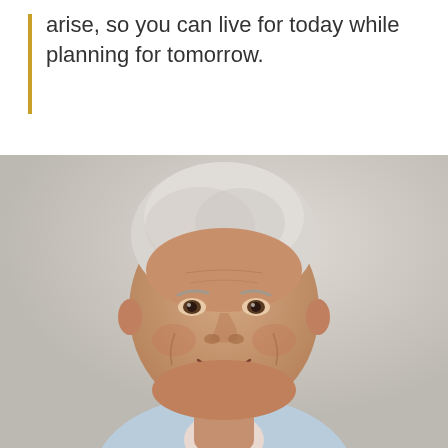arise, so you can live for today while planning for tomorrow.
[Figure (photo): Smiling older man with white/grey hair wearing a light blue sweater over a collared shirt, photographed against a light grey background.]